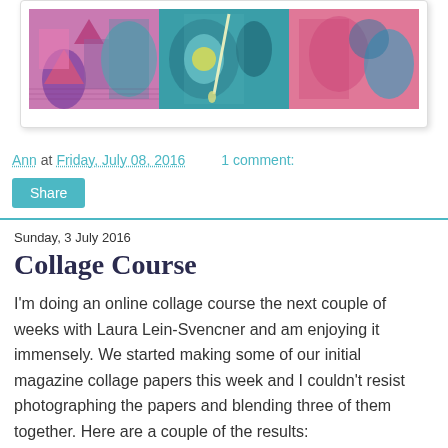[Figure (photo): Colorful collage artwork image showing pink, teal, and blue mixed media papers in a card frame]
Ann at Friday, July 08, 2016   1 comment:
Share
Sunday, 3 July 2016
Collage Course
I'm doing an online collage course the next couple of weeks with Laura Lein-Svencner and am enjoying it immensely. We started making some of our initial magazine collage papers this week and I couldn't resist photographing the papers and blending three of them together. Here are a couple of the results:
[Figure (photo): Bottom image row partially visible]